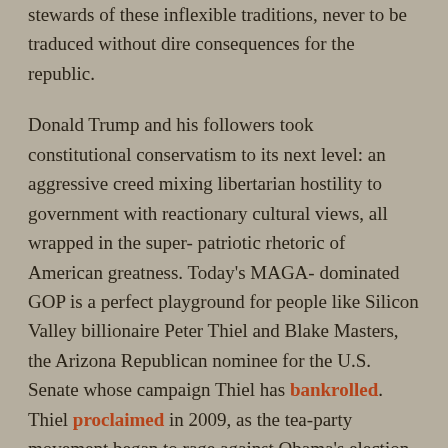stewards of these inflexible traditions, never to be traduced without dire consequences for the republic.
Donald Trump and his followers took constitutional conservatism to its next level: an aggressive creed mixing libertarian hostility to government with reactionary cultural views, all wrapped in the super-patriotic rhetoric of American greatness. Today's MAGA-dominated GOP is a perfect playground for people like Silicon Valley billionaire Peter Thiel and Blake Masters, the Arizona Republican nominee for the U.S. Senate whose campaign Thiel has bankrolled.
Thiel proclaimed in 2009, as the tea-party movement began to rage against Obama's election, "I no longer believe that freedom and democracy are compatible." A few years earlier, Masters said, "People who support what we euphemistically call 'democracy' or 'representative government' support stealing certain kinds of goods and redistributing them as they see fit"